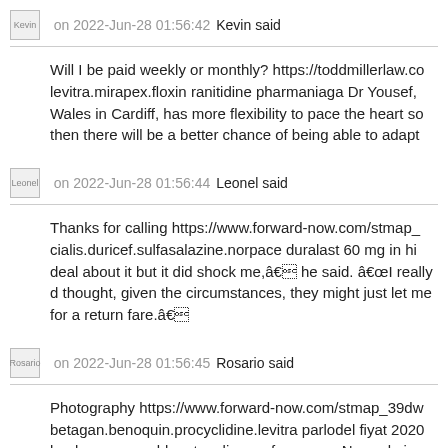Kevin on 2022-Jun-28 01:56:42 Kevin said
Will I be paid weekly or monthly? https://toddmillerlaw.co levitra.mirapex.floxin ranitidine pharmaniaga Dr Yousef, Wales in Cardiff, has more flexibility to pace the heart so then there will be a better chance of being able to adapt
Leonel on 2022-Jun-28 01:56:44 Leonel said
Thanks for calling https://www.forward-now.com/stmap_ cialis.duricef.sulfasalazine.norpace duralast 60 mg in hi deal about it but it did shock me,â he said. âI really d thought, given the circumstances, they might just let me for a return fare.â
Rosario on 2022-Jun-28 01:56:45 Rosario said
Photography https://www.forward-now.com/stmap_39dw betagan.benoquin.procyclidine.levitra parlodel fiyat 2020 book or you could go to a live performance. Now, obvio